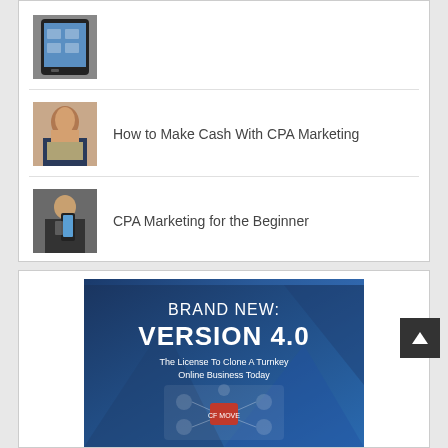[Figure (photo): Thumbnail image of a tablet/calculator device]
How to Make Cash With CPA Marketing
[Figure (photo): Thumbnail of a woman holding money/cash]
CPA Marketing for the Beginner
[Figure (photo): Thumbnail of a person holding a smartphone]
[Figure (infographic): Brand New: Version 4.0 - The License To Clone A Turnkey Online Business Today banner ad with blue gradient background and product graphic]